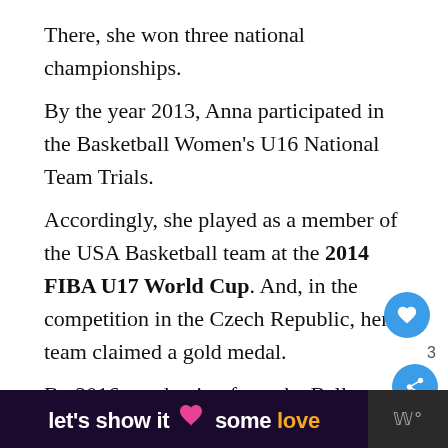There, she won three national championships.
By the year 2013, Anna participated in the Basketball Women's U16 National Team Trials.
Accordingly, she played as a member of the USA Basketball team at the 2014 FIBA U17 World Cup. And, in the competition in the Czech Republic, her team claimed a gold medal.
By 2016, graduating from the Bellevue High Scho  Anna maintained her average of 15.3 points wit  4.6 assists, 4.4 rebounds, and 3.2 steals.
[Figure (other): Bottom advertisement banner: dark purple background with text 'let's show it some love' in white and gold with a pink heart icon, and a small logo on the right]